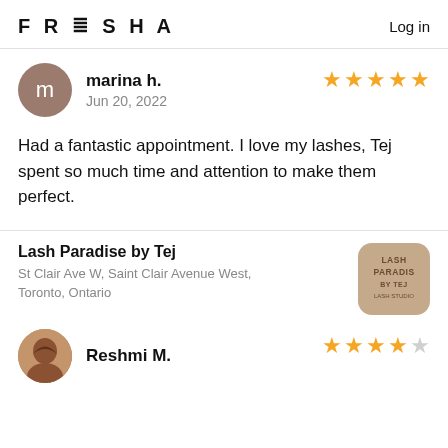FRESHA   Log in
marina h.
Jun 20, 2022
★★★★★
Had a fantastic appointment. I love my lashes, Tej spent so much time and attention to make them perfect.
Lash Paradise by Tej
St Clair Ave W, Saint Clair Avenue West, Toronto, Ontario
Reshmi M.
★★★★☆